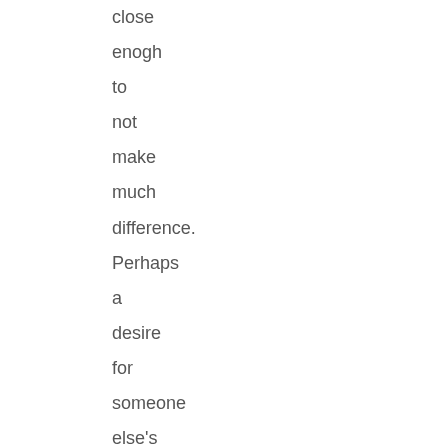close
enogh
to
not
make
much
difference.
Perhaps
a
desire
for
someone
else's
happiness
is
a
reasonable
definition
of
love.

I
do
think
the
animals
and